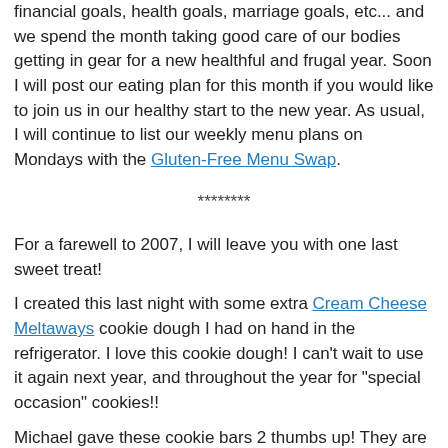Every January, Michael and I set goals for our coming year: financial goals, health goals, marriage goals, etc... and we spend the month taking good care of our bodies getting in gear for a new healthful and frugal year. Soon I will post our eating plan for this month if you would like to join us in our healthy start to the new year. As usual, I will continue to list our weekly menu plans on Mondays with the Gluten-Free Menu Swap.
********
For a farewell to 2007, I will leave you with one last sweet treat!
I created this last night with some extra Cream Cheese Meltaways cookie dough I had on hand in the refrigerator. I love this cookie dough! I can't wait to use it again next year, and throughout the year for "special occasion" cookies!!
Michael gave these cookie bars 2 thumbs up! They are rich and delicious and we'll be eating them tonight at my mom in